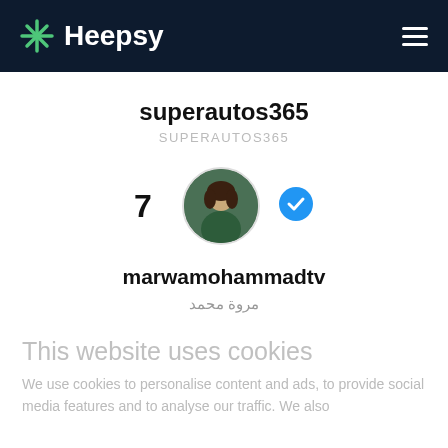Heepsy
superautos365
SUPERAUTOS365
[Figure (photo): Profile photo of a woman in a dark green outfit, circular avatar, with a blue verified checkmark badge. Number 7 appears to the left of the avatar.]
marwamohammadtv
مروة محمد
This website uses cookies
We use cookies to personalise content and ads, to provide social media features and to analyse our traffic. We also